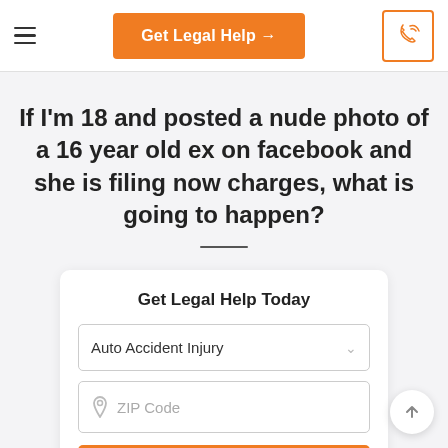Get Legal Help →
If I'm 18 and posted a nude photo of a 16 year old ex on facebook and she is filing now charges, what is going to happen?
Get Legal Help Today
Auto Accident Injury
ZIP Code
Get Legal Help →